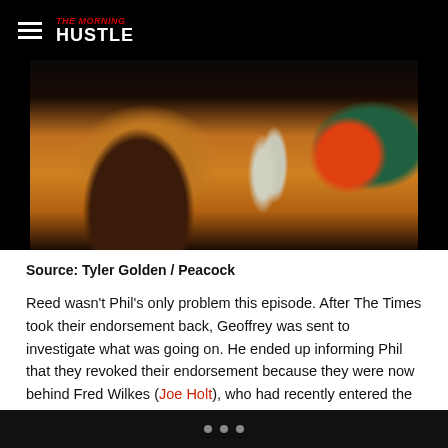THE MORNING HUSTLE
[Figure (photo): Photo of a person wearing an orange outfit sitting at a dining table with glassware and floral arrangements in the background]
Source: Tyler Golden / Peacock
Reed wasn't Phil's only problem this episode. After The Times took their endorsement back, Geoffrey was sent to investigate what was going on. He ended up informing Phil that they revoked their endorsement because they were now behind Fred Wilkes (Joe Holt), who had recently entered the race for District Attorney.
It ...